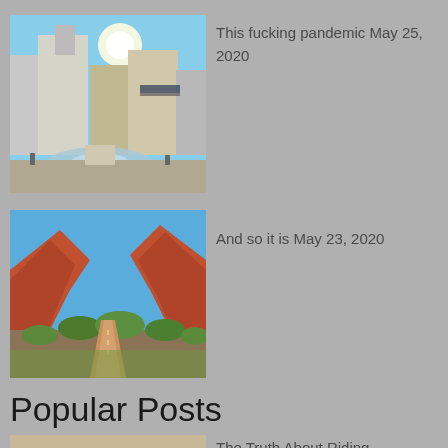[Figure (photo): Outdoor photo of Las Vegas strip area with fountain and buildings under bright sun]
This fucking pandemic May 25, 2020
[Figure (photo): Scenic red rock canyon landscape with dirt road, green vegetation, blue sky]
And so it is May 23, 2020
Popular Posts
[Figure (photo): Photo of elephants with green book cover overlay reading 'The Truth About Riding Elephants']
The Truth About Riding Elephants August 11, 2015